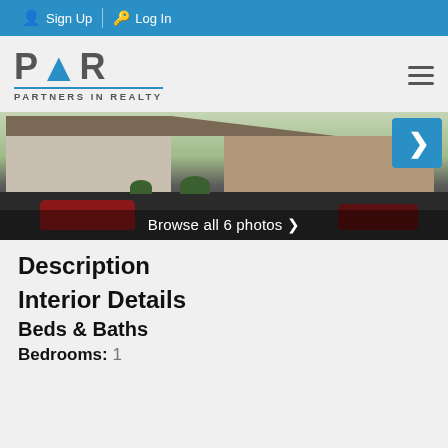Sign Up   Log In
[Figure (logo): Partners In Realty logo with stylized PIR letters and building icon]
[Figure (photo): Exterior photo of a residential property showing brick ranch-style homes with parking area. Text overlay reads 'Browse all 6 photos >']
Description
Interior Details
Beds & Baths
Bedrooms:  1